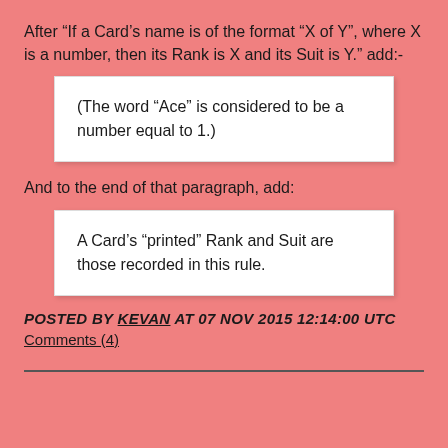After “If a Card’s name is of the format “X of Y”, where X is a number, then its Rank is X and its Suit is Y.” add:-
(The word “Ace” is considered to be a number equal to 1.)
And to the end of that paragraph, add:
A Card’s “printed” Rank and Suit are those recorded in this rule.
POSTED BY KEVAN AT 07 NOV 2015 12:14:00 UTC
Comments (4)